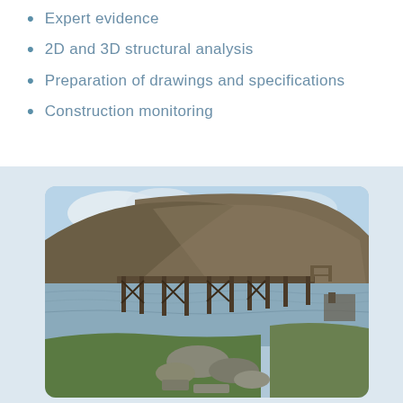Expert evidence
2D and 3D structural analysis
Preparation of drawings and specifications
Construction monitoring
[Figure (photo): Photograph of a wooden pier/jetty extending into a loch or lake, with steep hills/mountains in the background under a partly cloudy sky. Rocks and green grass visible in the foreground.]